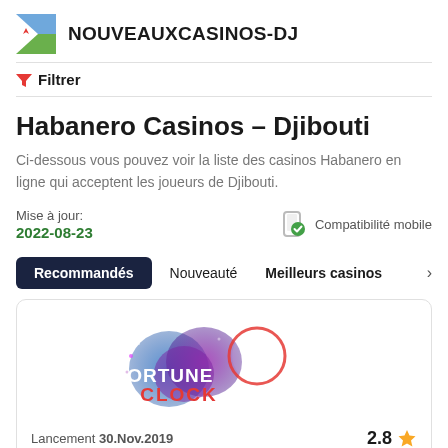NOUVEAUXCASINOS-DJ
Filtrer
Habanero Casinos - Djibouti
Ci-dessous vous pouvez voir la liste des casinos Habanero en ligne qui acceptent les joueurs de Djibouti.
Mise à jour: 2022-08-23  Compatibilité mobile
Recommandés
Nouveauté
Meilleurs casinos
[Figure (logo): Fortune Clock casino logo - purple and blue glowing orbs with clock motif and text FORTUNE CLOCK]
Lancement 30.Nov.2019   2.8 ★